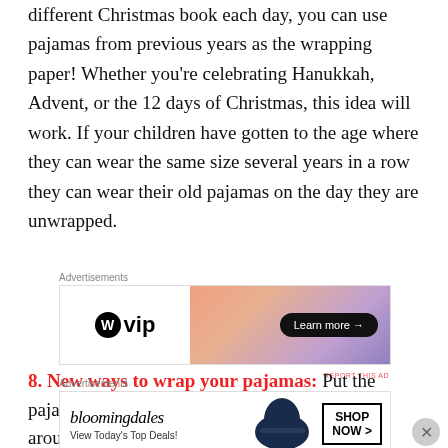different Christmas book each day, you can use pajamas from previous years as the wrapping paper! Whether you're celebrating Hanukkah, Advent, or the 12 days of Christmas, this idea will work. If your children have gotten to the age where they can wear the same size several years in a row they can wear their old pajamas on the day they are unwrapped.
[Figure (other): WordPress VIP advertisement banner with orange-purple gradient and Learn more button]
8. New ways to wrap your pajamas: Put the pajamas inside of a pillow case and wrap a bow around it. Use the pillow case on Christmas Eve. You save on wrapping
[Figure (other): Bloomingdale's advertisement banner with woman in hat, View Today's Top Deals, SHOP NOW button]